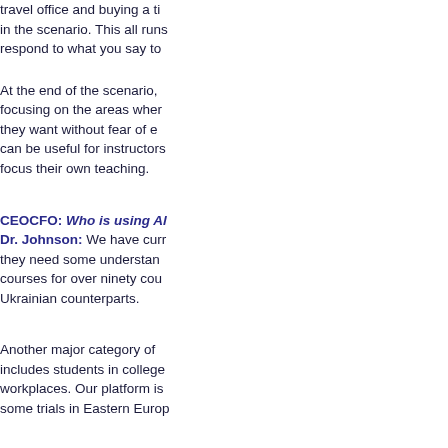travel office and buying a ticket in the scenario. This all runs... respond to what you say to...
At the end of the scenario, ... focusing on the areas wher... they want without fear of e... can be useful for instructors... focus their own teaching.
CEOCFO: Who is using Al... Dr. Johnson: We have curr... they need some understan... courses for over ninety cou... Ukrainian counterparts.
Another major category of ... includes students in college... workplaces. Our platform is... some trials in Eastern Europ...
Now we are developing a p... more effectively, to get thei... provide training to their emp... types. That is what we are d...
CEOCFO: What is it about... Dr. Johnson: You are eng... understands and responds t...